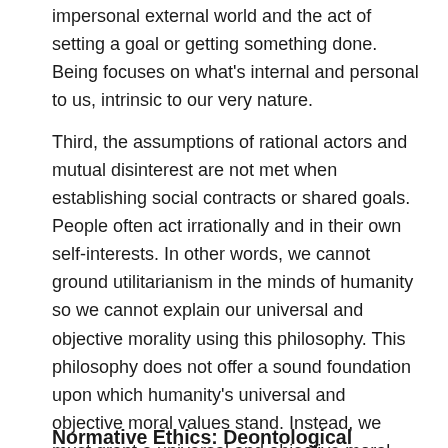impersonal external world and the act of setting a goal or getting something done. Being focuses on what's internal and personal to us, intrinsic to our very nature.
Third, the assumptions of rational actors and mutual disinterest are not met when establishing social contracts or shared goals. People often act irrationally and in their own self-interests. In other words, we cannot ground utilitarianism in the minds of humanity so we cannot explain our universal and objective morality using this philosophy. This philosophy does not offer a sound foundation upon which humanity's universal and objective moral values stand. Instead, we must grant a universal and objective moral lawgiver who transcends humanity: God. God gave us a conscience that serves as a guide for our reasoning, intuitions, values, duties, purpose and meaning. Now we will turn to a different moral framework.
Normative Ethics: Deontological Framework